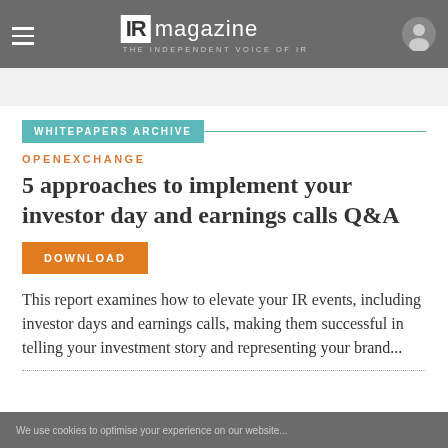IR magazine — THE INDEPENDENT VOICE OF IR
WHITEPAPERS ARCHIVE
OPENEXCHANGE
5 approaches to implement your investor day and earnings calls Q&A
DOWNLOAD
This report examines how to elevate your IR events, including investor days and earnings calls, making them successful in telling your investment story and representing your brand...
We use cookies to optimise your experience on our website...